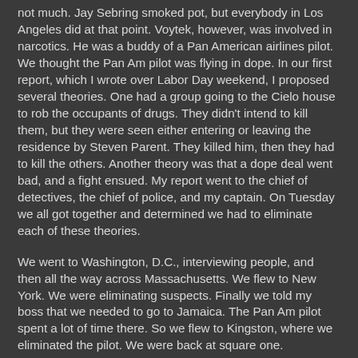not much. Jay Sebring smoked pot, but everybody in Los Angeles did at that point. Voytek, however, was involved in narcotics. He was a buddy of a Pan American airlines pilot. We thought the Pan Am pilot was flying in dope. In our first report, which I wrote over Labor Day weekend, I proposed several theories. One had a group going to the Cielo house to rob the occupants of drugs. They didn't intend to kill them, but they were seen either entering or leaving the residence by Steven Parent. They killed him, then they had to kill the others. Another theory was that a dope deal went bad, and a fight ensued. My report went to the chief of detectives, the chief of police, and my captain. On Tuesday we all got together and determined we had to eliminate each of these theories.
We went to Washington, D.C., interviewing people, and then all the way across Massachusetts. We flew to New York. We were eliminating suspects. Finally we told my boss that we needed to go to Jamaica. The Pan Am pilot spent a lot of time there. So we flew to Kingston, where we eliminated the pilot. We were back at square one.